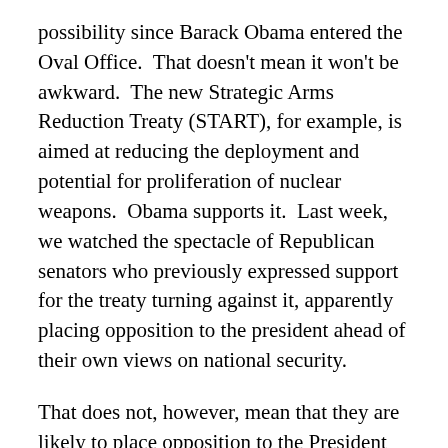possibility since Barack Obama entered the Oval Office.  That doesn't mean it won't be awkward.  The new Strategic Arms Reduction Treaty (START), for example, is aimed at reducing the deployment and potential for proliferation of nuclear weapons.  Obama supports it.  Last week, we watched the spectacle of Republican senators who previously expressed support for the treaty turning against it, apparently placing opposition to the president ahead of their own views on national security.
That does not, however, mean that they are likely to place opposition to the President ahead of their support for wars that ultimately weaken national security.  In fact, it's quite possible that, in 2011, they will try to separate themselves from the president by proposing even more war funding than he asks